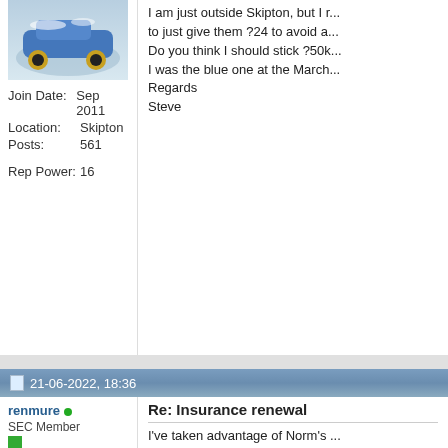[Figure (photo): Blue rally car partially visible at top of sidebar]
Join Date: Sep 2011
Location: Skipton
Posts: 561
Rep Power: 16
I am just outside Skipton, but I... to just give them ?24 to avoid a... Do you think I should stick ?50k... I was the blue one at the March... Regards Steve
21-06-2022, 18:36
renmure
SEC Member
Join Date: May 2017
Location: Scotland
Posts: 796
Rep Power: 13
[Figure (photo): Rally car (Lancia Stratos style) with number 4, on dark background]
Re: Insurance renewal
I've taken advantage of Norm's ... my agreed value insurance with... specialist kit car / classic car po... and they also appear to underst... requiring loads of photos etc)

He does eat a lot of biscuits wh... guess you get what you pay for...